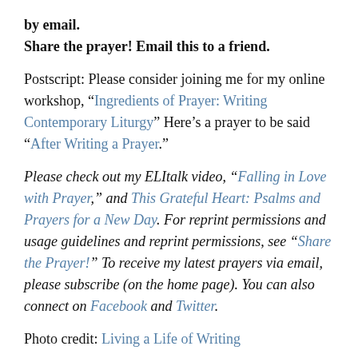by email.
Share the prayer! Email this to a friend.
Postscript: Please consider joining me for my online workshop, “Ingredients of Prayer: Writing Contemporary Liturgy” Here’s a prayer to be said “After Writing a Prayer.”
Please check out my ELItalk video, “Falling in Love with Prayer,” and This Grateful Heart: Psalms and Prayers for a New Day. For reprint permissions and usage guidelines and reprint permissions, see “Share the Prayer!” To receive my latest prayers via email, please subscribe (on the home page). You can also connect on Facebook and Twitter.
Photo credit: Living a Life of Writing
Thank You for Your Support
Your contribution helps support the creation of new